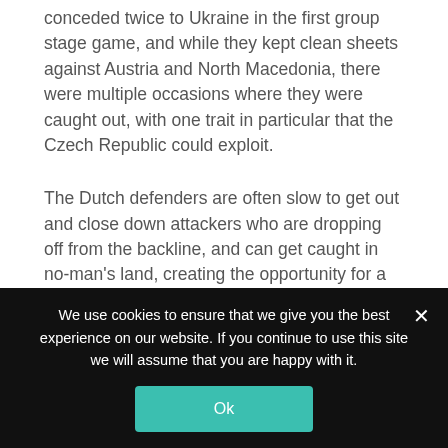conceded twice to Ukraine in the first group stage game, and while they kept clean sheets against Austria and North Macedonia, there were multiple occasions where they were caught out, with one trait in particular that the Czech Republic could exploit.
The Dutch defenders are often slow to get out and close down attackers who are dropping off from the backline, and can get caught in no-man's land, creating the opportunity for a shot or a pass from a dangerous area.
We use cookies to ensure that we give you the best experience on our website. If you continue to use this site we will assume that you are happy with it.